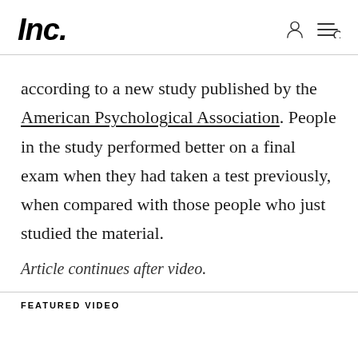Inc.
according to a new study published by the American Psychological Association. People in the study performed better on a final exam when they had taken a test previously, when compared with those people who just studied the material.
Article continues after video.
FEATURED VIDEO